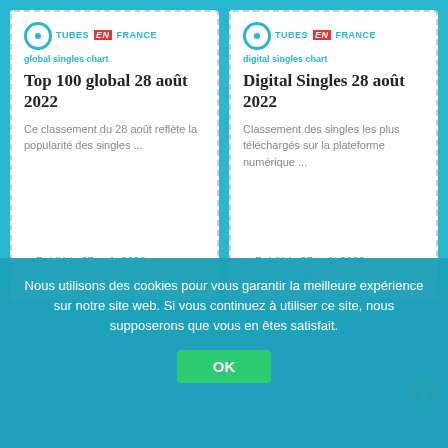[Figure (screenshot): Left card: Tubes en France global singles chart logo with blue circle icon and red 'en' badge]
Top 100 global 28 août 2022
Ce classement du 28 août reflète la popularité des singles ...
✉ Publié le 27 août 2022 par Charles Pons
[Figure (screenshot): Right card: Tubes en France digital singles chart logo with blue circle icon and red 'en' badge]
Digital Singles 28 août 2022
Classement des singles les plus téléchargés sur la plateforme numérique ...
✉ Publié le 27 août 2022 par Charles Pons
Nous utilisons des cookies pour vous garantir la meilleure expérience sur notre site web. Si vous continuez à utiliser ce site, nous supposerons que vous en êtes satisfait.
OK